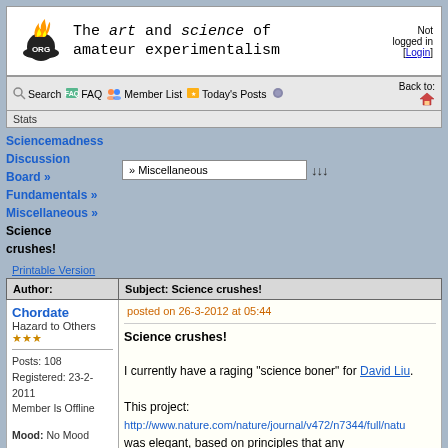[Figure (screenshot): Sciencemadness forum page header with logo (flame on globe), site title 'The art and science of amateur experimentalism', and 'Not logged in [Login]' text]
Search | FAQ | Member List | Today's Posts | Stats | Back to:
Sciencemadness Discussion Board » Fundamentals » Miscellaneous » Science crushes!
» Miscellaneous (dropdown)
Printable Version
| Author: | Subject: Science crushes! |
| --- | --- |
| Chordate
Hazard to Others
★★★
Posts: 108
Registered: 23-2-2011
Member Is Offline
Mood: No Mood | posted on 26-3-2012 at 05:44

Science crushes!

I currently have a raging "science boner" for David Liu.

This project:
http://www.nature.com/nature/journal/v472/n7344/full/natu...
was elegant, based on principles that any undergraduates... |